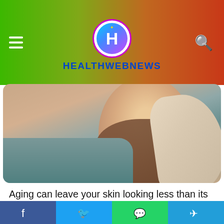HEALTHWEBNEWS
[Figure (photo): Close-up of a person lying down with eyes closed, a gloved hand touching their face — a medical/aesthetic treatment scene.]
Aging can leave your skin looking less than its best. As wrinkles and fine lines appear, you may feel that there is no way to stop them or change the appearance of aging skin. However, as technology advances in the medical field, so does the science behind regenerative medicine. Regenerative medicine is a new and exciting way to revitalize your skin, and many Georgians in Atlanta are embracing it. It would help if you found an Atlanta, GA aesthetics & regenerative medicine
Facebook | Twitter | WhatsApp | Telegram